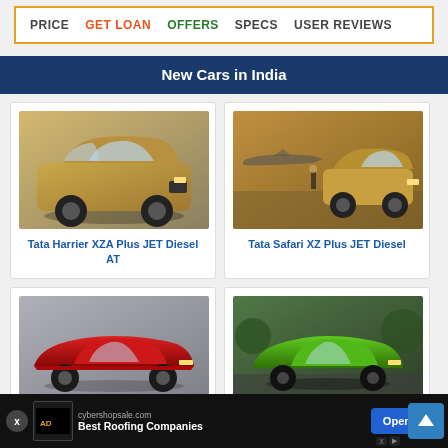PRICE  GET LOAN  OFFERS  SPECS  USER REVIEWS
New Cars in India
[Figure (photo): Tata Harrier SUV in gold/olive color, front-side view on neutral background]
Tata Harrier XZA Plus JET Diesel AT
[Figure (photo): Tata Safari SUV in gold color, on airstrip with person and aircraft in background]
Tata Safari XZ Plus JET Diesel
[Figure (photo): Ferrari 296 GTB red sports car, side view on grey background]
Ferrari 296 GTB
[Figure (photo): Green Lamborghini Huracan Tecnica style sports car on road]
cybershopsale.com  Best Roofing Companies  Open  Tecni...